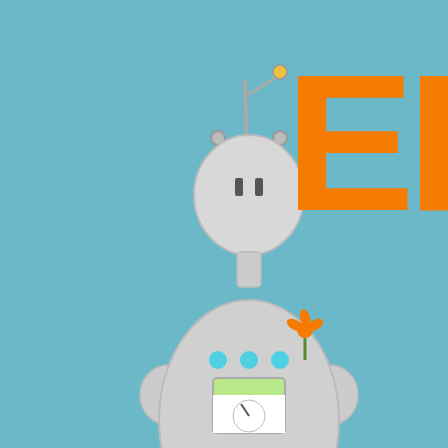[Figure (illustration): Blog header banner with light blue background, cartoon robot illustration on the left, large orange letters 'EP' on the right, and 'Geekery,' text below in dark gray]
Home / About / Contact / Boo
Monday, June 11, 2012
Icy Earrings From... Bubble W
I've been experimenting with fused bubble wrap this past week... bubble wrap pendant over on Craft:.